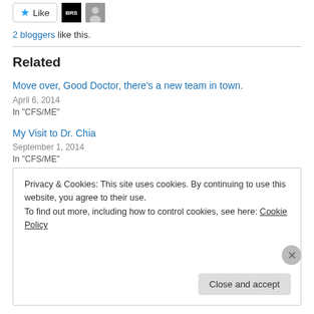[Figure (other): Like button with star icon and two blogger avatars (BRS logo and person photo)]
2 bloggers like this.
Related
Move over, Good Doctor, there's a new team in town.
April 6, 2014
In "CFS/ME"
My Visit to Dr. Chia
September 1, 2014
In "CFS/ME"
Privacy & Cookies: This site uses cookies. By continuing to use this website, you agree to their use.
To find out more, including how to control cookies, see here: Cookie Policy
Close and accept